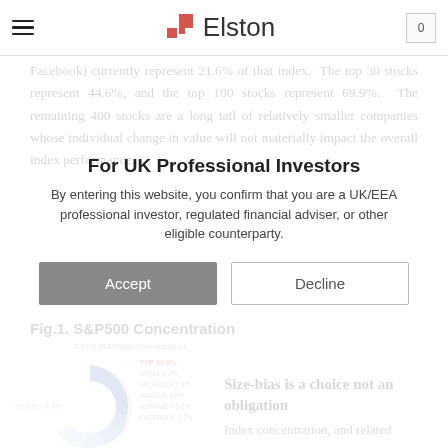Elston
Facebook) currently represent 21.6% of that index. The top 30 stocks represent 44.6%, and the top 100 stocks represent 69.9%. The remaining 400 stocks are a long tail of relatively smaller companies whose individual change in value will not materially impact the overall index performance.
For UK Professional Investors
By entering this website, you confirm that you are a UK/EEA professional investor, regulated financial adviser, or other eligible counterparty.
Fig.1. S&P500 Concentration
[Figure (donut-chart): Donut chart showing S&P500 concentration by top holdings including Apple, Microsoft, Amazon, Alphabet, Facebook with percentage labels]
Size-bias is a choice not an obligation
Index concentration, and related